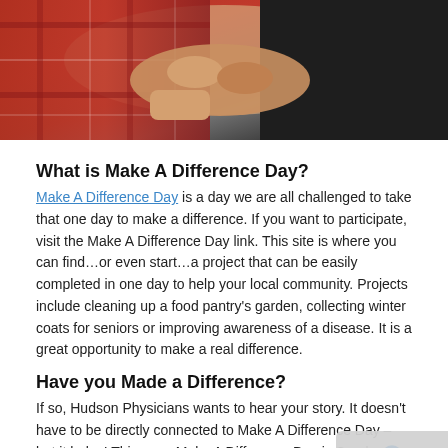[Figure (photo): Close-up photo of two people's arms/hands, one wearing a red plaid shirt and one wearing a black sleeve, appearing to be helping or clasping hands.]
What is Make A Difference Day?
Make A Difference Day is a day we are all challenged to take that one day to make a difference. If you want to participate, visit the Make A Difference Day link. This site is where you can find…or even start…a project that can be easily completed in one day to help your local community. Projects include cleaning up a food pantry's garden, collecting winter coats for seniors or improving awareness of a disease. It is a great opportunity to make a real difference.
Have you Made a Difference?
If so, Hudson Physicians wants to hear your story. It doesn't have to be directly connected to Make A Difference Day – but it helps! This year, Make A Difference Day is Sunday, October 23 and it is a day when...